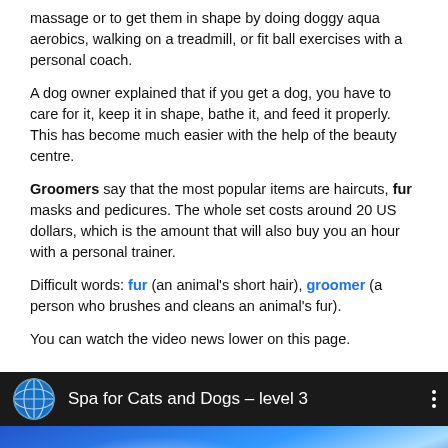massage or to get them in shape by doing doggy aqua aerobics, walking on a treadmill, or fit ball exercises with a personal coach.
A dog owner explained that if you get a dog, you have to care for it, keep it in shape, bathe it, and feed it properly. This has become much easier with the help of the beauty centre.
Groomers say that the most popular items are haircuts, fur masks and pedicures. The whole set costs around 20 US dollars, which is the amount that will also buy you an hour with a personal trainer.
Difficult words: fur (an animal's short hair), groomer (a person who brushes and cleans an animal's fur).
You can watch the video news lower on this page.
[Figure (screenshot): YouTube-style video player showing 'Spa for Cats and Dogs – level 3' with globe icon, three-dot menu, and blue gradient video thumbnail]